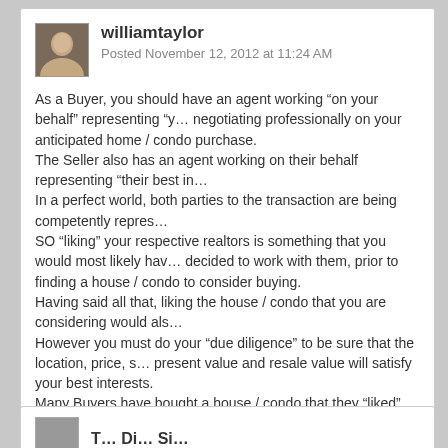williamtaylor
Posted November 12, 2012 at 11:24 AM
As a Buyer, you should have an agent working “on your behalf” representing “y… negotiating professionally on your anticipated home / condo purchase.
The Seller also has an agent working on their behalf representing “their best in…
In a perfect world, both parties to the transaction are being competently repres…
SO “liking” your respective realtors is something that you would most likely hav… decided to work with them, prior to finding a house / condo to consider buying.
Having said all that, liking the house / condo that you are considering would als…
However you must do your “due diligence” to be sure that the location, price, s… present value and resale value will satisfy your best interests.
Many Buyers have bought a house / condo that they “liked” but without proper… have regreted the decision afterwards much to their chagrin!!